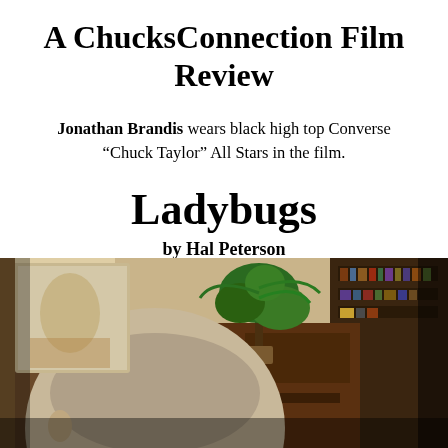A ChucksConnection Film Review
Jonathan Brandis wears black high top Converse “Chuck Taylor” All Stars in the film.
Ladybugs
by Hal Peterson
[Figure (photo): A scene from the film showing the back of a person's head in the foreground, with a living room setting behind them featuring a bookshelf, a plant, and various decorative items.]